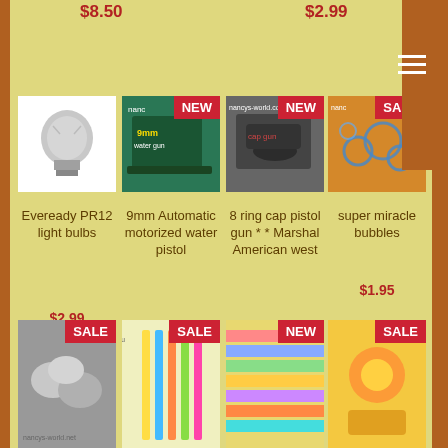$8.50
$2.99
[Figure (photo): Eveready PR12 light bulb product photo on white background]
Eveready PR12 light bulbs
$2.99
[Figure (photo): 9mm Automatic motorized water pistol product on green/teal packaging, NEW badge]
9mm Automatic motorized water pistol
$7.99
[Figure (photo): 8 ring cap pistol gun Marshal American west product photo, NEW badge]
8 ring cap pistol gun * * Marshal American west
$14.50
[Figure (photo): Super miracle bubbles product photo, SALE badge]
super miracle bubbles
$1.95
[Figure (photo): Bottom row: coins/medals product with SALE badge]
[Figure (photo): Bottom row: pencils/art supplies with SALE badge]
[Figure (photo): Bottom row: colorful strips/craft with NEW badge]
[Figure (photo): Bottom row: toy product with SALE badge]